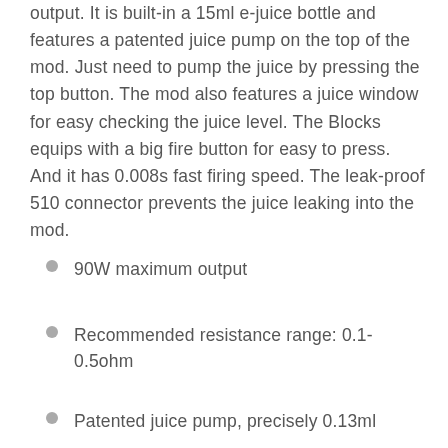output. It is built-in a 15ml e-juice bottle and features a patented juice pump on the top of the mod. Just need to pump the juice by pressing the top button. The mod also features a juice window for easy checking the juice level. The Blocks equips with a big fire button for easy to press. And it has 0.008s fast firing speed. The leak-proof 510 connector prevents the juice leaking into the mod.
90W maximum output
Recommended resistance range: 0.1-0.5ohm
Patented juice pump, precisely 0.13ml